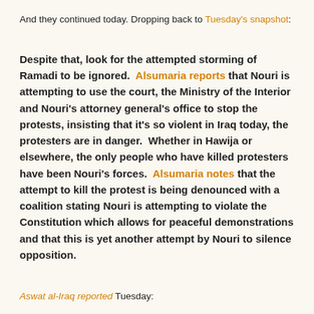And they continued today. Dropping back to Tuesday's snapshot:
Despite that, look for the attempted storming of Ramadi to be ignored. Alsumaria reports that Nouri is attempting to use the court, the Ministry of the Interior and Nouri's attorney general's office to stop the protests, insisting that it's so violent in Iraq today, the protesters are in danger. Whether in Hawija or elsewhere, the only people who have killed protesters have been Nouri's forces. Alsumaria notes that the attempt to kill the protest is being denounced with a coalition stating Nouri is attempting to violate the Constitution which allows for peaceful demonstrations and that this is yet another attempt by Nouri to silence opposition.
Aswat al-Iraq reported Tuesday:
Iraqi Interior Ministry called the citizens not to demonstrate